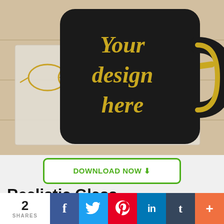[Figure (photo): Black matte coffee mug with gold italic script text 'Your design here' on a linen napkin with gold-rimmed glasses and a gold pen, on a light wood background.]
DOWNLOAD NOW ⬇
Realistic Glass Transparent Mockup
Transparent
2 SHARES